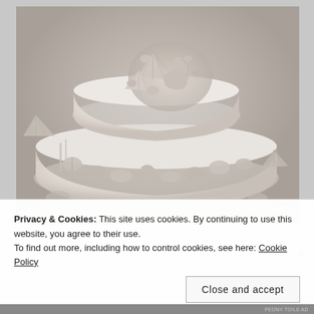[Figure (photo): A two-tiered white fondant wedding cake decorated with seashell decorations. The top tier has a large cluster of various seashell shapes in the center. Additional seashells decorate the sides of both tiers. Real seashells are arranged around the base of the cake on what appears to be sand.]
Privacy & Cookies: This site uses cookies. By continuing to use this website, you agree to their use.
To find out more, including how to control cookies, see here: Cookie Policy
Close and accept